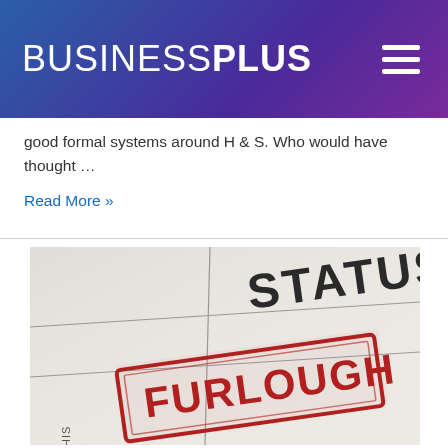BUSINESSPLUS
good formal systems around H & S. Who would have thought ...
Read More »
[Figure (photo): A close-up photo of a form or document with a grid layout. The word STATUS is printed in large dark letters. A red rubber stamp impression reads FURLOUGH in bold capital letters inside a rectangular border.]